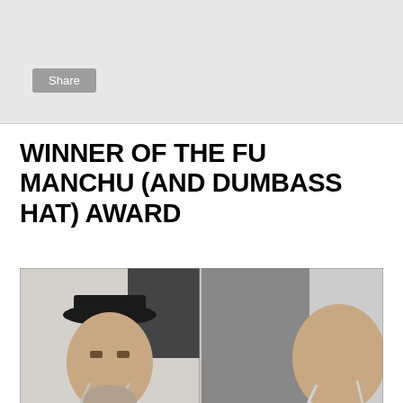Share
WINNER OF THE FU MANCHU (AND DUMBASS HAT) AWARD
[Figure (photo): Two photographs of Ted Stedman, winner of the Fu Manchu category at the World Beard and Moustache Championships 2009. He is wearing a black hat, black shirt, and red decorative sash, with a distinctive long drooping moustache.]
The World Beard and Moustache Championships 2009 were recently held in Anchorage, Alaska. The guy pictured above is Ted Stedman, winner of the "Fu Manchu" category. Yes, I know what you're thinking. There is an actual World